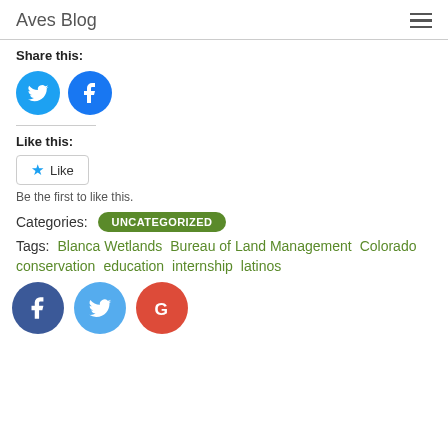Aves Blog
Share this:
[Figure (illustration): Twitter and Facebook circular social share buttons]
Like this:
[Figure (illustration): Like button with star icon]
Be the first to like this.
Categories: UNCATEGORIZED
Tags: Blanca Wetlands  Bureau of Land Management  Colorado  conservation  education  internship  latinos
[Figure (illustration): Facebook, Twitter, and Google circular social follow buttons at bottom]